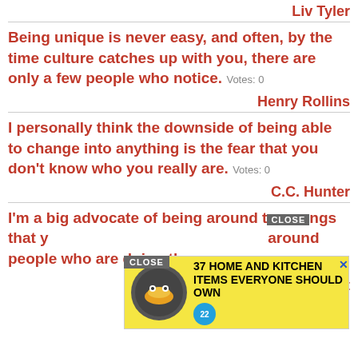Liv Tyler
Being unique is never easy, and often, by the time culture catches up with you, there are only a few people who notice. Votes: 0
Henry Rollins
I personally think the downside of being able to change into anything is the fear that you don't know who you really are. Votes: 0
C.C. Hunter
I'm a big advocate of being around things that you love doing, so that you are around people who are doing them. Votes: 0
Ryan Seacrest
[Figure (screenshot): Ad overlay: '37 HOME AND KITCHEN ITEMS EVERYONE SHOULD OWN' with close button and badge]